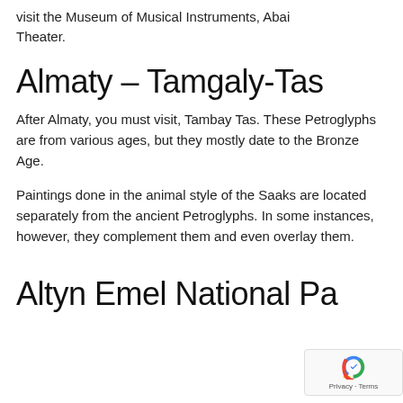visit the Museum of Musical Instruments, Abai Theater.
Almaty – Tamgaly-Tas
After Almaty, you must visit, Tambay Tas. These Petroglyphs are from various ages, but they mostly date to the Bronze Age.
Paintings done in the animal style of the Saaks are located separately from the ancient Petroglyphs. In some instances, however, they complement them and even overlay them.
Altyn Emel National Pa…